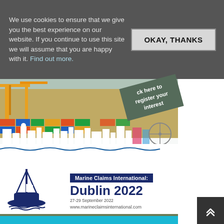We use cookies to ensure that we give you the best experience on our website. If you continue to use this site we will assume that you are happy with it. Find out more.
OKAY, THANKS
[Figure (photo): Aerial view of a shipping port with cranes and colorful cargo containers, with a white city skyline silhouette overlay at the bottom]
ck here to register your interest
[Figure (logo): Marine Claims International: Dublin 2022 event logo with ship icon, 27-29 September 2022, www.marineclaimsinternational.com]
SIGN UP TO OUR FREE WEEKLY EMAIL SERVICE